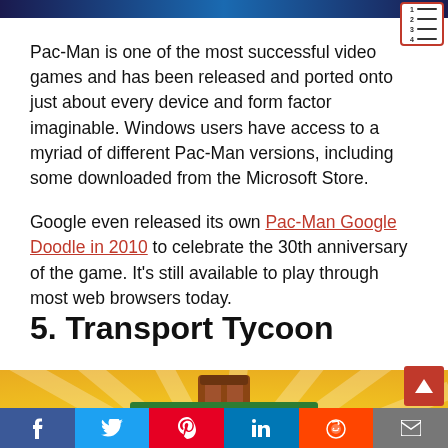[Figure (screenshot): Dark blue navigation bar at the top of the page with a table-of-contents icon in the top-right corner (red border, numbered list lines)]
Pac-Man is one of the most successful video games and has been released and ported onto just about every device and form factor imaginable. Windows users have access to a myriad of different Pac-Man versions, including some downloaded from the Microsoft Store.
Google even released its own Pac-Man Google Doodle in 2010 to celebrate the 30th anniversary of the game. It's still available to play through most web browsers today.
5. Transport Tycoon
[Figure (screenshot): Partial screenshot of Transport Tycoon game image with yellow sunburst background and green TRANSPORT sign, plus a red scroll-to-top button]
[Figure (infographic): Social share bar with Facebook, Twitter, Pinterest, LinkedIn, Reddit, and Email buttons]